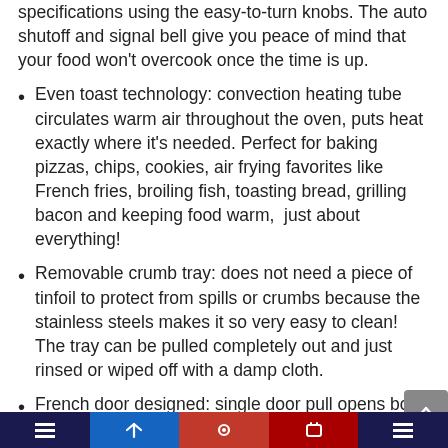specifications using the easy-to-turn knobs. The auto shutoff and signal bell give you peace of mind that your food won't overcook once the time is up.
Even toast technology: convection heating tube circulates warm air throughout the oven, puts heat exactly where it's needed. Perfect for baking pizzas, chips, cookies, air frying favorites like French fries, broiling fish, toasting bread, grilling bacon and keeping food warm,  just about everything!
Removable crumb tray: does not need a piece of tinfoil to protect from spills or crumbs because the stainless steels makes it so very easy to clean! The tray can be pulled completely out and just rinsed or wiped off with a damp cloth.
French door designed: single door pull opens both